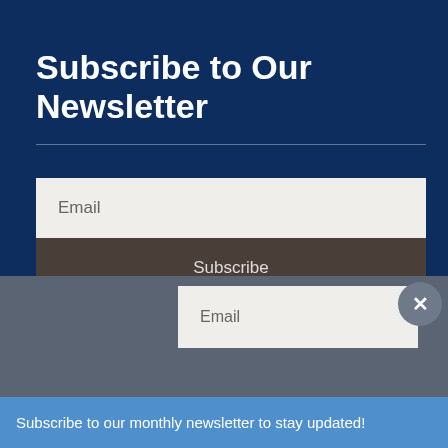Subscribe to Our Newsletter
[Figure (screenshot): Email input field with placeholder text 'Email' on a light beige background]
Subscribe
[Figure (logo): LinkedIn icon - circular grey badge with 'in' text]
[Figure (screenshot): Bottom overlay with email input field placeholder 'Email', a close (X) button, and a blue toast notification bar]
Subscribe to our monthly newsletter to stay updated!